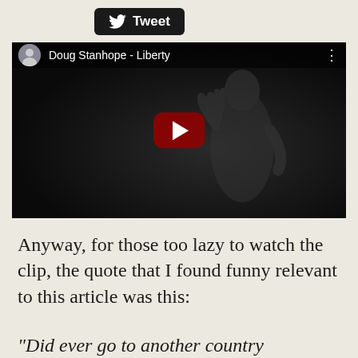[Figure (screenshot): Twitter Tweet button with bird icon, dark background, rounded rectangle]
[Figure (screenshot): YouTube video embed showing Doug Stanhope - Liberty, dark background with performer silhouette and red play button]
Anyway, for those too lazy to watch the clip, the quote that I found funny relevant to this article was this:
“Did ever go to another country